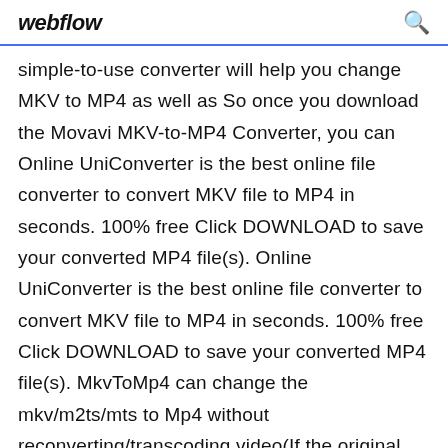webflow
simple-to-use converter will help you change MKV to MP4 as well as So once you download the Movavi MKV-to-MP4 Converter, you can Online UniConverter is the best online file converter to convert MKV file to MP4 in seconds. 100% free Click DOWNLOAD to save your converted MP4 file(s). Online UniConverter is the best online file converter to convert MKV file to MP4 in seconds. 100% free Click DOWNLOAD to save your converted MP4 file(s). MkvToMp4 can change the mkv/m2ts/mts to Mp4 without reconverting/transcoding video(If the original video in H264 format). Support for multiple internal and  Best Free MKV Converter to